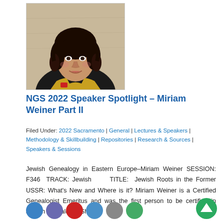[Figure (photo): Headshot portrait of Miriam Weiner, a woman with dark curly hair wearing a black and gold uniform jacket]
NGS 2022 Speaker Spotlight – Miriam Weiner Part II
Filed Under: 2022 Sacramento | General | Lectures & Speakers | Methodology & Skillbuilding | Repositories | Research & Sources | Speakers & Sessions
Jewish Genealogy in Eastern Europe–Miriam Weiner SESSION: F346  TRACK: Jewish      TITLE:  Jewish Roots in the Former USSR: What's New and Where is it? Miriam Weiner is a Certified Genealogist Emeritus and was the first person to be certified in Jewish genealogy.  She s...